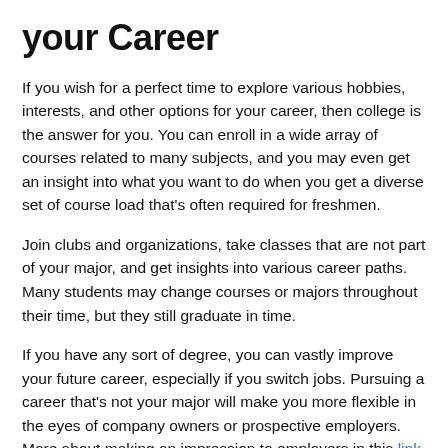your Career
If you wish for a perfect time to explore various hobbies, interests, and other options for your career, then college is the answer for you. You can enroll in a wide array of courses related to many subjects, and you may even get an insight into what you want to do when you get a diverse set of course load that's often required for freshmen.
Join clubs and organizations, take classes that are not part of your major, and get insights into various career paths. Many students may change courses or majors throughout their time, but they still graduate in time.
If you have any sort of degree, you can vastly improve your future career, especially if you switch jobs. Pursuing a career that's not your major will make you more flexible in the eyes of company owners or prospective employers. More about making an impression to employers in this link.